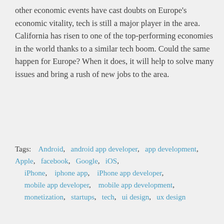other economic events have cast doubts on Europe's economic vitality, tech is still a major player in the area. California has risen to one of the top-performing economies in the world thanks to a similar tech boom. Could the same happen for Europe? When it does, it will help to solve many issues and bring a rush of new jobs to the area.
Tags: Android, android app developer, app development, Apple, facebook, Google, iOS, iPhone, iphone app, iPhone app developer, mobile app developer, mobile app development, monetization, startups, tech, ui design, ux design